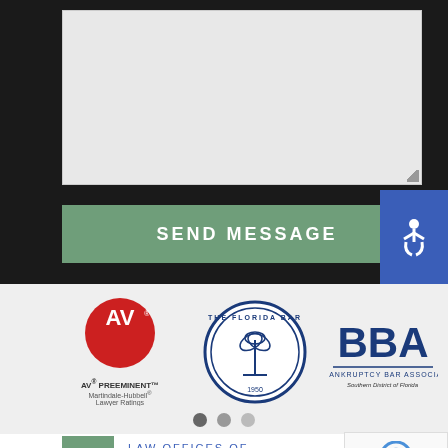[Figure (screenshot): Dark background web form with a text area input box]
[Figure (other): SEND MESSAGE button in sage green color]
[Figure (other): Blue accessibility wheelchair icon button]
[Figure (logo): AV Preeminent Martindale-Hubbell Lawyer Ratings logo - red circle with AV letters]
[Figure (logo): The Florida Bar circular seal logo in blue]
[Figure (logo): BBA The Bankruptcy Bar Association Southern District of Florida logo]
[Figure (other): Carousel navigation dots - three dots indicating slideshow position]
[Figure (logo): Law Offices of David W. Langl... footer logo with DL monogram in green box]
[Figure (other): reCAPTCHA Privacy - Terms badge in bottom right]